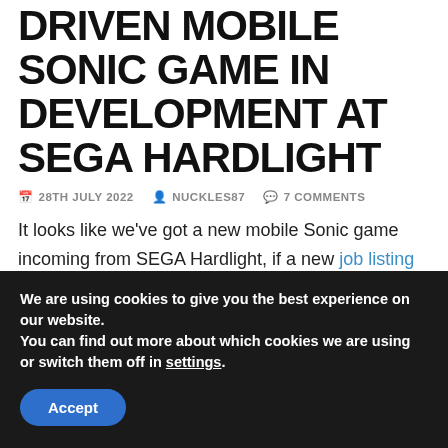DRIVEN MOBILE SONIC GAME IN DEVELOPMENT AT SEGA HARDLIGHT
28TH JULY 2022  NUCKLES87  7 COMMENTS
It looks like we've got a new mobile Sonic game incoming from SEGA Hardlight, if a new job listing on Gameindustry.biz's jobs board is any indication. The job listing is for a lead artist, who will work on a "new Sonic game," who will.
We are using cookies to give you the best experience on our website.
You can find out more about which cookies we are using or switch them off in settings.
Accept